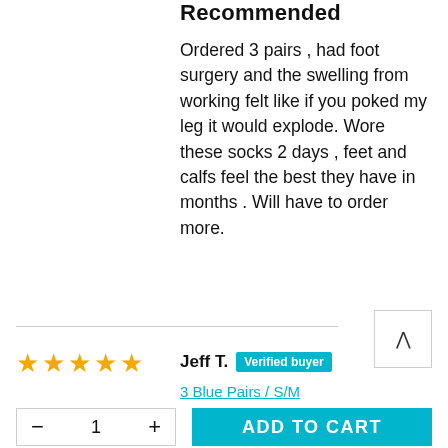Recommended
Ordered 3 pairs , had foot surgery and the swelling from working felt like if you poked my leg it would explode. Wore these socks 2 days , feet and calfs feel the best they have in months . Will have to order more.
Jeff T. Verified buyer
3 Blue Pairs / S/M
- 1 + ADD TO CART